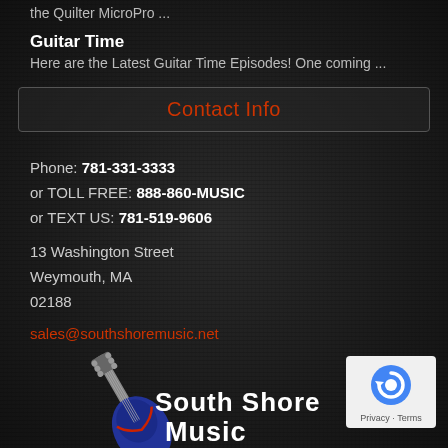the Quilter MicroPro ...
Guitar Time
Here are the Latest Guitar Time Episodes! One coming ...
Contact Info
Phone: 781-331-3333
or TOLL FREE: 888-860-MUSIC
or TEXT US: 781-519-9606
13 Washington Street
Weymouth, MA
02188
sales@southshoremusic.net
[Figure (logo): South Shore Music logo with guitar graphic and text at bottom of page]
[Figure (other): Google reCAPTCHA badge with Privacy and Terms links]